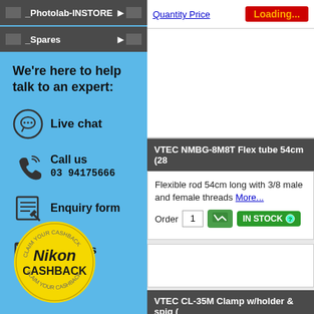_Photolab-INSTORE
_Spares
We're here to help talk to an expert:
Live chat
Call us
03 94175666
Enquiry form
Email us
[Figure (logo): Nikon Cashback circular badge in yellow with 'Nikon CASHBACK' text]
Quantity Price
Loading...
VTEC NMBG-8M8T Flex tube 54cm (28
Flexible rod 54cm long with 3/8 male and female threads More...
Order  1   IN STOCK
VTEC CL-35M Clamp w/holder & spig (